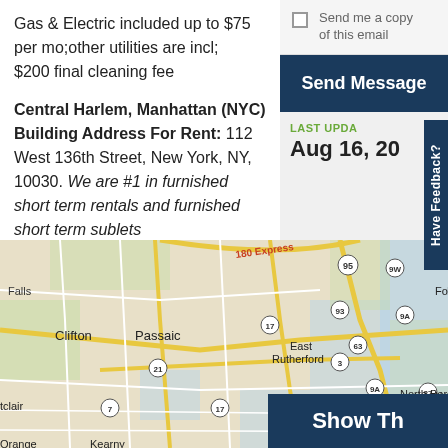Gas & Electric included up to $75 per mo;other utilities are incl; $200 final cleaning fee
Send me a copy of this email
Send Message
Central Harlem, Manhattan (NYC) Building Address For Rent: 112 West 136th Street, New York, NY, 10030. We are #1 in furnished short term rentals and furnished short term sublets
LAST UPDA
Aug 16, 20
Have Feedback?
[Figure (map): Street map showing the New Jersey/New York area including Clifton, Passaic, East Rutherford, North Bergen, Secaucus, Fort Lee, Harlem, and surrounding areas with highway labels including 95, 93, 9W, 9A, 87, 17, 21, 7, 3, 63, 180 Express]
Show Th